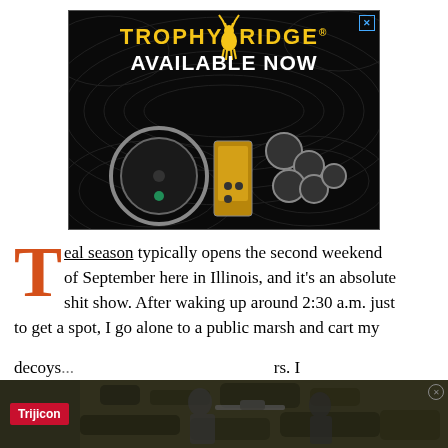[Figure (photo): Trophy Ridge advertisement on black background with topographic line pattern. Shows archery bow sight equipment. Text reads 'TROPHY RIDGE' in gold and 'AVAILABLE NOW' in white bold text.]
Teal season typically opens the second weekend of September here in Illinois, and it's an absolute shit show. After waking up around 2:30 a.m. just to get a spot, I go alone to a public marsh and cart my decoys... rs. I
[Figure (photo): Trijicon advertisement at bottom showing hunters with rifles in camouflage. Red Trijicon logo visible on left.]